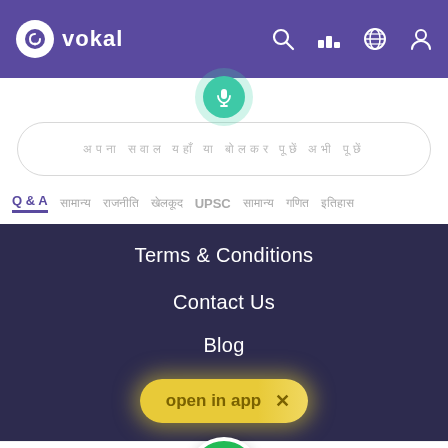vokal
[Figure (screenshot): Vokal app screenshot with search bar, navigation tabs, dropdown menu with Terms & Conditions, Contact Us, Blog, and open in app button]
Q & A
Terms & Conditions
Contact Us
Blog
open in app